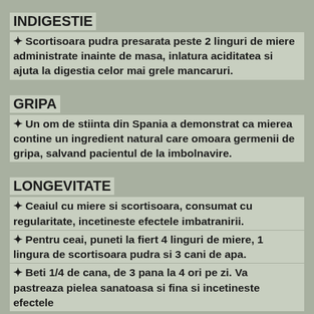INDIGESTIE
✦ Scortisoara pudra presarata peste 2 linguri de miere administrate inainte de masa, inlatura aciditatea si ajuta la digestia celor mai grele mancaruri.
GRIPA
✦ Un om de stiinta din Spania a demonstrat ca mierea contine un ingredient natural care omoara germenii de gripa, salvand pacientul de la imbolnavire.
LONGEVITATE
✦ Ceaiul cu miere si scortisoara, consumat cu regularitate, incetineste efectele imbatranirii.
✦ Pentru ceai, puneti la fiert 4 linguri de miere, 1 lingura de scortisoara pudra si 3 cani de apa.
✦ Beti 1/4 de cana, de 3 pana la 4 ori pe zi. Va pastreaza pielea sanatoasa si fina si incetineste efectele